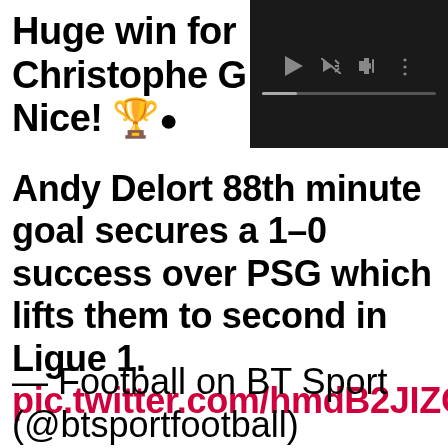Huge win for Christophe Galtier & Nice! 🏆●
[Figure (screenshot): Video player thumbnail with dark background showing playback controls: play button, mute/speaker icon, fullscreen icon, more options icon, and a progress bar at bottom]
Andy Delort 88th minute goal secures a 1–0 success over PSG which lifts them to second in Ligue 1. pic.twitter.com/hmdB2JIZON
— Football on BT Sport (@btsportfootball)